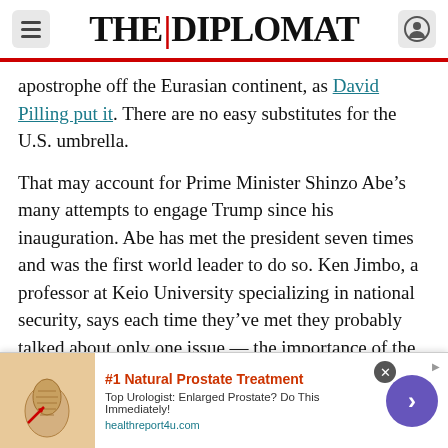THE DIPLOMAT
apostrophe off the Eurasian continent, as David Pilling put it. There are no easy substitutes for the U.S. umbrella.
That may account for Prime Minister Shinzo Abe’s many attempts to engage Trump since his inauguration. Abe has met the president seven times and was the first world leader to do so. Ken Jimbo, a professor at Keio University specializing in national security, says each time they’ve met they probably talked about only one issue — the importance of the alliance. “That’s not seven separate items they have talked about,” Jimbo
[Figure (infographic): Advertisement banner: #1 Natural Prostate Treatment. Top Urologist: Enlarged Prostate? Do This Immediately! healthreport4u.com. Contains a medical illustration of a prostate, a purple circle arrow button, and a close button.]